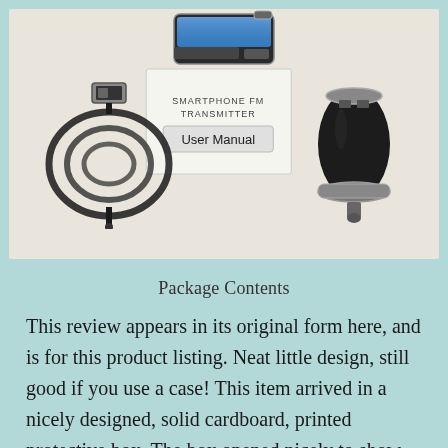[Figure (photo): Photo of package contents on a white surface: a USB/aux cable coiled on the left, a user manual booklet in the center reading 'SMARTPHONE FM TRANSMITTER User Manual', a black car charger/USB adapter on the right, and an FM transmitter device visible at the top.]
Package Contents
This review appears in its original form here, and is for this product listing. Neat little design, still good if you use a case! This item arrived in a nicely designed, solid cardboard, printed protective box. The box opened nicely to show